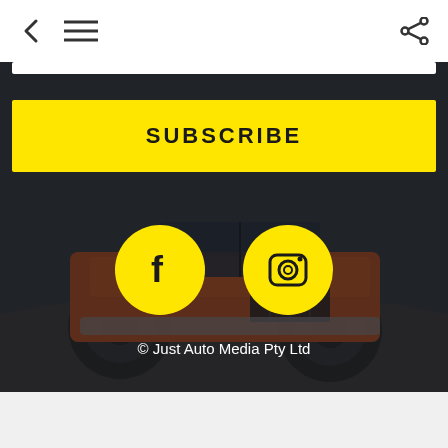< ≡   (share icon)
[Figure (screenshot): Dark-themed mobile app screen showing an orange Jeep Wrangler in the background with a yellow SUBSCRIBE button, Facebook and Instagram social media icon buttons in yellow circles, and copyright text]
SUBSCRIBE
© Just Auto Media Pty Ltd